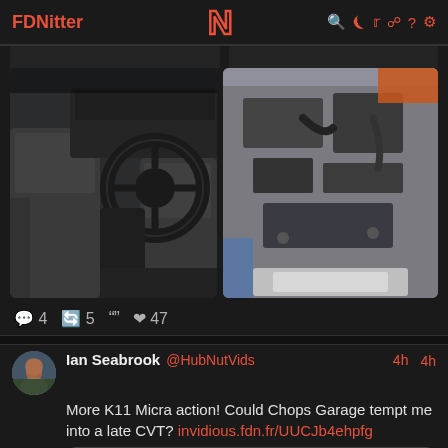FDNitter [N logo] [icons: search rss twitter link ? settings]
[Figure (photo): Car interior showing steering wheel, dashboard, and front seats (left photo)]
[Figure (photo): Car engine bay viewed from above (right photo)]
4  5  ""  47
Ian Seabrook @HubNutVids  4h
More K11 Micra action! Could Chops Garage tempt me into a late CVT? invidious.fdn.fr/UUCJb4ehpfg
[Figure (screenshot): Video preview card titled 'Can Chops Garage tempt me into a Micra CVT?' with thumbnail of person and play button]
Can Chops Garage tempt me into a Micra CVT?
@Chops Garage tempted me down to his sales yard with two delightful Japanese delights. The first is a British-built blue CVT that isn't my Invacar. No, it's